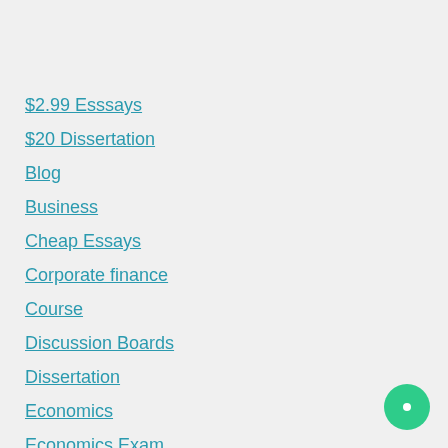$2.99 Esssays
$20 Dissertation
Blog
Business
Cheap Essays
Corporate finance
Course
Discussion Boards
Dissertation
Economics
Economics Exam
Essay Samples